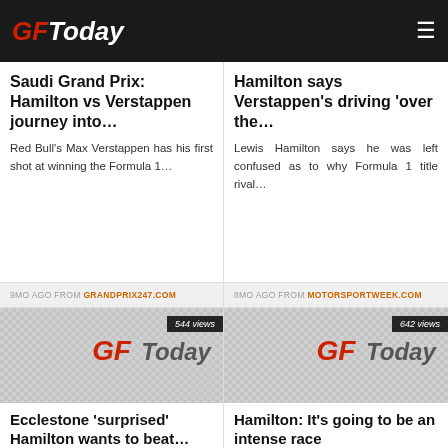GFToday
Saudi Grand Prix: Hamilton vs Verstappen journey into…
Red Bull's Max Verstappen has his first shot at winning the Formula 1...
Hamilton says Verstappen's driving 'over the…
Lewis Hamilton says he was left confused as to why Formula 1 title rival...
9MO AGO FROM GRANDPRIX247.COM
8MO AGO FROM MOTORSPORTWEEK.COM
[Figure (logo): GFToday logo placeholder thumbnail with 544 views badge]
[Figure (logo): GFToday logo placeholder thumbnail with 642 views badge]
Ecclestone 'surprised' Hamilton wants to beat…
Bernie Ecclestone says he's 'surprised' Lewis Hamilton continued to race...
Hamilton: It's going to be an intense race
Lewis Hamilton was gifted his 103rd pole position start – arguably...